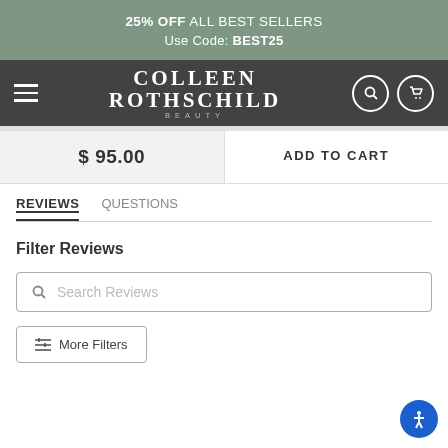25% OFF ALL BEST SELLERS
Use Code: BEST25
[Figure (logo): Colleen Rothschild Beauty logo with hamburger menu, search, and cart icons on dark background]
$ 95.00
ADD TO CART
REVIEWS   QUESTIONS
Filter Reviews
Search Reviews
More Filters